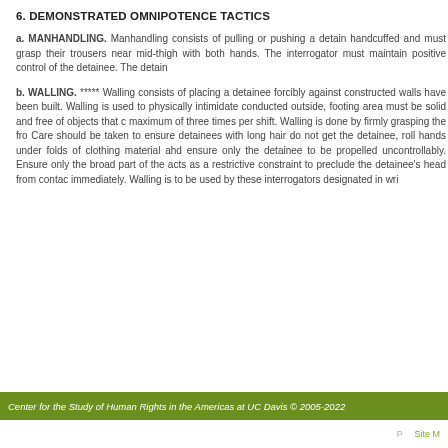6. DEMONSTRATED OMNIPOTENCE TACTICS
a. MANHANDLING. Manhandling consists of pulling or pushing a detainee handcuffed and must grasp their trousers near mid-thigh with both hands. The interrogator must maintain positive control of the detainee. The detainee
b. WALLING. ***** Walling consists of placing a detainee forcibly against constructed walls have been built. Walling is used to physically intimidate conducted outside, footing area must be solid and free of objects that c maximum of three times per shift. Walling is done by firmly grasping the fro Care should be taken to ensure detainees with long hair do not get the detainee, roll hands under folds of clothing material ahd ensure only the detainee to be propelled uncontrollably. Ensure only the broad part of the acts as a restrictive constraint to preclude the detainee's head from contac immediately. Walling is to be used by these interrogators designated in wri
Center for the Study of Human Rights in the Americas at UC Davis © 2005-2022
Site M